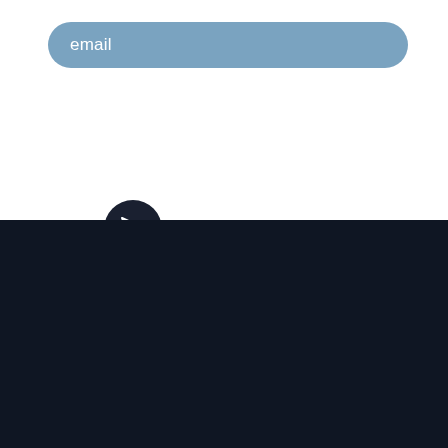[Figure (other): Email input field with blue rounded rectangle background and white 'email' placeholder text]
[Figure (other): Dark circular send/submit button with white paper airplane icon]
[Figure (logo): Filmmakers Academy logo: FA letters in white on dark background, with text FILMMAKERS ACADEMY MASTER YOUR CRAFT/ where slash is green]
Call us:
747-999-5321